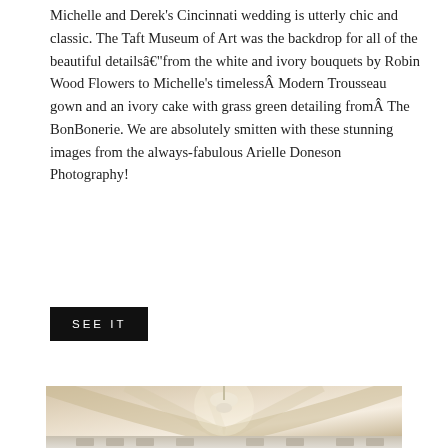Michelle and Derek's Cincinnati wedding is utterly chic and classic. The Taft Museum of Art was the backdrop for all of the beautiful details—from the white and ivory bouquets by Robin Wood Flowers to Michelle's timeless Modern Trousseau gown and an ivory cake with grass green detailing from The BonBonerie. We are absolutely smitten with these stunning images from the always-fabulous Arielle Doneson Photography!
SEE IT
[Figure (photo): Interior of an elegant wedding reception tent with ivory draped fabric ceiling, crystal chandelier, floral centerpieces, and chiavari chairs visible at the bottom.]